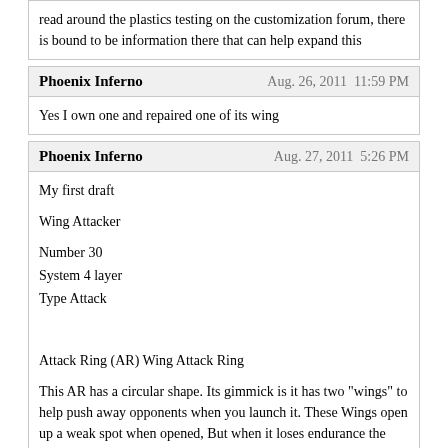read around the plastics testing on the customization forum, there is bound to be information there that can help expand this
Phoenix Inferno   Aug. 26, 2011  11:59 PM
Yes I own one and repaired one of its wing
Phoenix Inferno   Aug. 27, 2011  5:26 PM
My first draft

Wing Attacker

Number 30
System 4 layer
Type Attack


Attack Ring (AR) Wing Attack Ring

This AR has a circular shape. Its gimmick is it has two "wings" to help push away opponents when you launch it. These Wings open up a weak spot when opened, But when it loses endurance the wings retract leaving the AR able to be thrown due to the gaps. It is useless and semi-fragile it shouldn't be used at all.


Weight Disk (WD) Six Wide see Wide weight disks